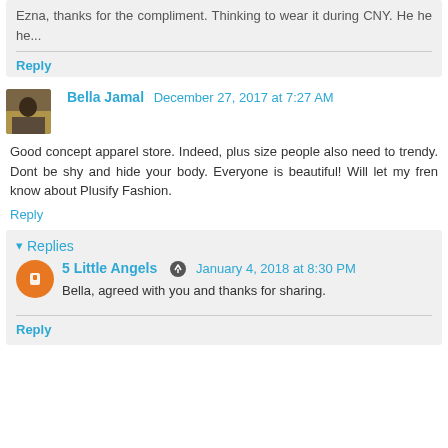Ezna, thanks for the compliment. Thinking to wear it during CNY. He he he...
Reply
Bella Jamal  December 27, 2017 at 7:27 AM
Good concept apparel store. Indeed, plus size people also need to trendy. Dont be shy and hide your body. Everyone is beautiful! Will let my fren know about Plusify Fashion.
Reply
Replies
5 Little Angels  January 4, 2018 at 8:30 PM
Bella, agreed with you and thanks for sharing.
Reply